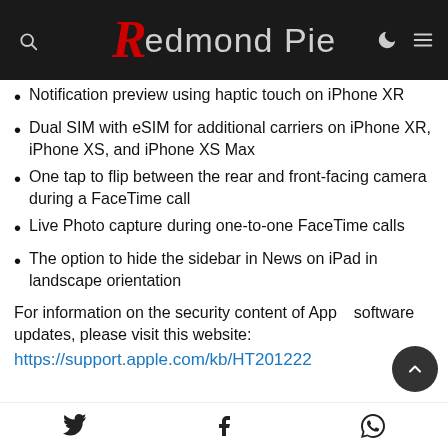Redmond Pie
Notification preview using haptic touch on iPhone XR
Dual SIM with eSIM for additional carriers on iPhone XR, iPhone XS, and iPhone XS Max
One tap to flip between the rear and front-facing camera during a FaceTime call
Live Photo capture during one-to-one FaceTime calls
The option to hide the sidebar in News on iPad in landscape orientation
For information on the security content of Apple software updates, please visit this website: https://support.apple.com/kb/HT201222
Twitter | Facebook | WhatsApp share icons